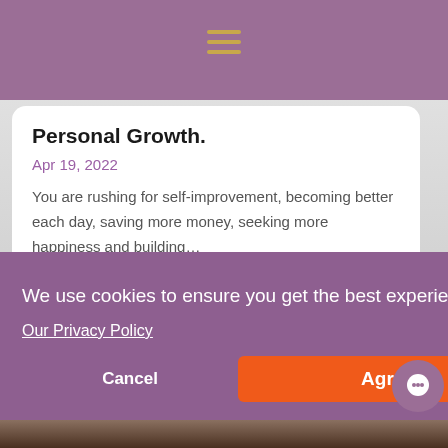Personal Growth.
Apr 19, 2022
You are rushing for self-improvement, becoming better each day, saving more money, seeking more happiness and building…
We use cookies to ensure you get the best experience on our website.
Our Privacy Policy
Cancel
Agree